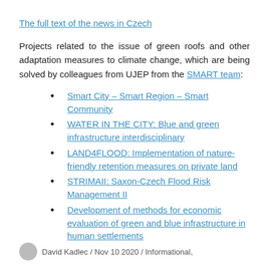The full text of the news in Czech
Projects related to the issue of green roofs and other adaptation measures to climate change, which are being solved by colleagues from UJEP from the SMART team:
Smart City – Smart Region – Smart Community
WATER IN THE CITY: Blue and green infrastructure interdisciplinary
LAND4FLOOD: Implementation of nature-friendly retention measures on private land
STRIMAII: Saxon-Czech Flood Risk Management II
Development of methods for economic evaluation of green and blue infrastructure in human settlements
David Kadlec / Nov 10 2020 / Informational,